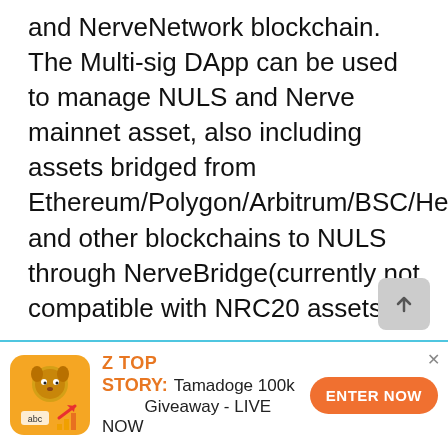and NerveNetwork blockchain. The Multi-sig DApp can be used to manage NULS and Nerve mainnet asset, also including assets bridged from Ethereum/Polygon/Arbitrum/BSC/Heco/OEC/Cronos and other blockchains to NULS through NerveBridge(currently not compatible with NRC20 assets).
https://nuls.medium.com/nuls-multi-signature-guide-27524203e173
[Figure (other): Scroll-to-top button with upward arrow icon]
[Figure (other): Advertisement banner: Z TOP STORY logo with dog/coin mascot. Text: Tamadoge 100k Giveaway - LIVE NOW. Orange ENTER NOW button.]